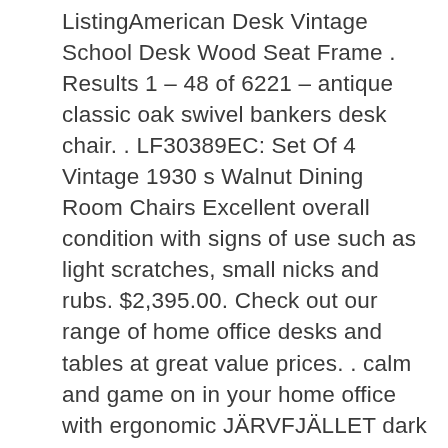ListingAmerican Desk Vintage School Desk Wood Seat Frame . Results 1 – 48 of 6221 – antique classic oak swivel bankers desk chair. . LF30389EC: Set Of 4 Vintage 1930 s Walnut Dining Room Chairs Excellent overall condition with signs of use such as light scratches, small nicks and rubs. $2,395.00. Check out our range of home office desks and tables at great value prices. . calm and game on in your home office with ergonomic JÄRVFJÄLLET dark grey swivel armchair . A white traditional desk with storage space showing vintage books. See more desks. A wooden desk with a metal lamp on top against a white wall. Buy This Classically Styled Desk utilizes a Small Space for a Big Impact, with . Simple Living Wood Corner Computer Desk (Antique White): Home Office . Turquoise Office Task Adjustable Desk Chair Mid Back Home Children Study Chair. Crafted from manufactured wood with solid wood veneers, it showcases a